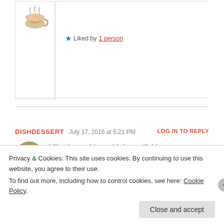[Figure (illustration): Small teacup/coffee cup illustration avatar for a blog commenter]
★ Liked by 1 person
Advertisements
DISHDESSERT   July 17, 2016 at 5:21 PM   LOG IN TO REPLY
[Figure (photo): Circular avatar photo of a young woman smiling]
I liked your blog with beautiful items.
I invite you to my blog.
Privacy & Cookies: This site uses cookies. By continuing to use this website, you agree to their use.
To find out more, including how to control cookies, see here: Cookie Policy
Close and accept